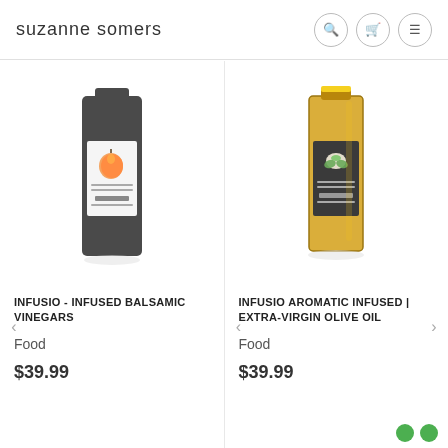suzanne somers
[Figure (photo): Dark bottle of Infusio Infused Balsamic Vinegar with peach label]
INFUSIO - INFUSED BALSAMIC VINEGARS
Food
$39.99
[Figure (photo): Clear/amber bottle of Infusio Aromatic Infused Extra-Virgin Olive Oil with herb label]
INFUSIO AROMATIC INFUSED | EXTRA-VIRGIN OLIVE OIL
Food
$39.99